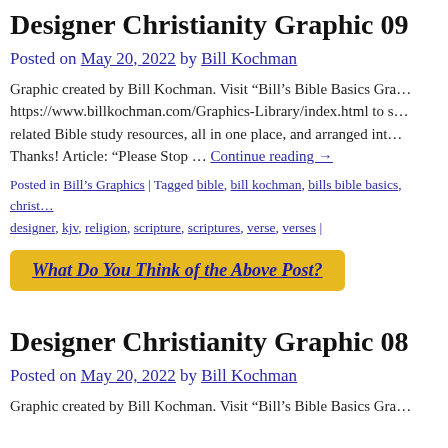Designer Christianity Graphic 09
Posted on May 20, 2022 by Bill Kochman
Graphic created by Bill Kochman. Visit “Bill’s Bible Basics Gra… https://www.billkochman.com/Graphics-Library/index.html to s… related Bible study resources, all in one place, and arranged int… Thanks! Article: “Please Stop … Continue reading →
Posted in Bill's Graphics | Tagged bible, bill kochman, bills bible basics, christ… designer, kjv, religion, scripture, scriptures, verse, verses |
What Do You Think of the Above Post?
Designer Christianity Graphic 08
Posted on May 20, 2022 by Bill Kochman
Graphic created by Bill Kochman. Visit “Bill’s Bible Basics Gra… https://www.billkochman.com/Graphics-Library/index.html to s…